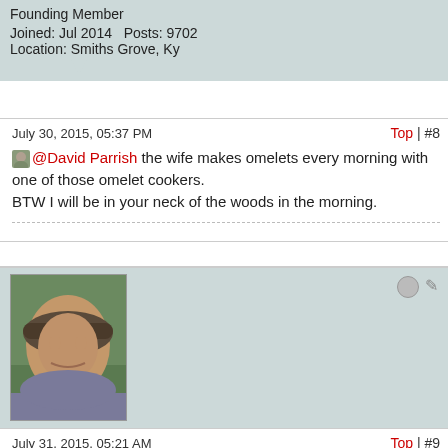Founding Member
Joined: Jul 2014   Posts: 9702
Location: Smiths Grove, Ky
July 30, 2015, 05:37 PM
Top | #8
@David Parrish the wife makes omelets every morning with one of those omelet cookers. BTW I will be in your neck of the woods in the morning.
[Figure (photo): Profile photo of David Parrish, a man wearing a cap outdoors]
David Parrish
Founding Member - Pit Boss Emeritus
Joined: May 2014   Posts: 4915
Location: Charlotte, NC
July 31, 2015, 05:21 AM
Top | #9